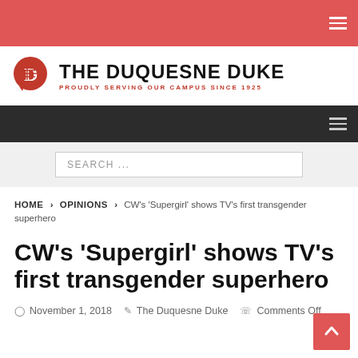THE DUQUESNE DUKE — PROUDLY SERVING OUR CAMPUS SINCE 1925
SEARCH ...
HOME > OPINIONS > CW's 'Supergirl' shows TV's first transgender superhero
CW's 'Supergirl' shows TV's first transgender superhero
November 1, 2018  The Duquesne Duke  Comments Off